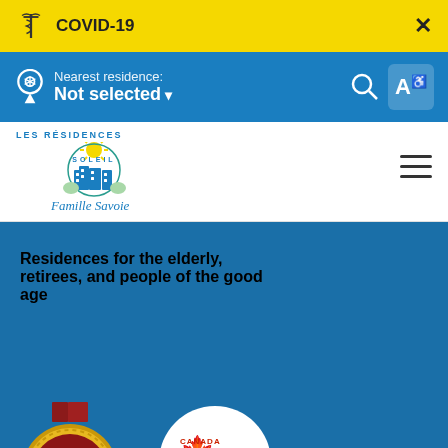COVID-19
Nearest residence: Not selected
[Figure (logo): Les Résidences Soleil - Famille Savoie logo with building and sun illustration]
Residences for the elderly, retirees, and people of the good age
[Figure (illustration): Consumer Choice Award 2022 Greater Montreal gold medal badge]
[Figure (illustration): Canada Best Managed Companies Platinum member circular badge]